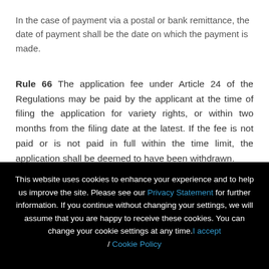In the case of payment via a postal or bank remittance, the date of payment shall be the date on which the payment is made.
Rule 66 The application fee under Article 24 of the Regulations may be paid by the applicant at the time of filing the application for variety rights, or within two months from the filing date at the latest. If the fee is not paid or is not paid in full within the time limit, the application shall be deemed to have been withdrawn.
This website uses cookies to enhance your experience and to help us improve the site. Please see our Privacy Statement for further information. If you continue without changing your settings, we will assume that you are happy to receive these cookies. You can change your cookie settings at any time. I accept / Cookie Policy